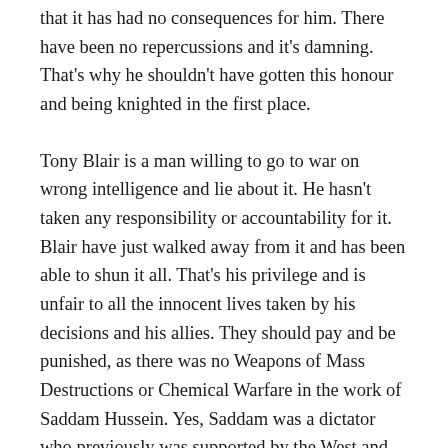that it has had no consequences for him. There have been no repercussions and it's damning. That's why he shouldn't have gotten this honour and being knighted in the first place.
Tony Blair is a man willing to go to war on wrong intelligence and lie about it. He hasn't taken any responsibility or accountability for it. Blair have just walked away from it and has been able to shun it all. That's his privilege and is unfair to all the innocent lives taken by his decisions and his allies. They should pay and be punished, as there was no Weapons of Mass Destructions or Chemical Warfare in the work of Saddam Hussein. Yes, Saddam was a dictator who previously was supported by the West and had gotten support to attack Iran at some point. Therefore, the U.S. and UK knew all of